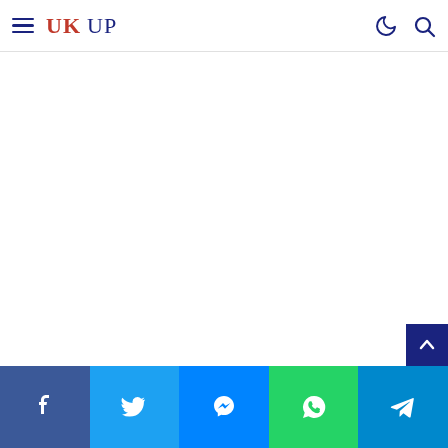UK UP — navigation header with hamburger menu, logo, moon icon, search icon
Social share bar: Facebook, Twitter, Messenger, WhatsApp, Telegram